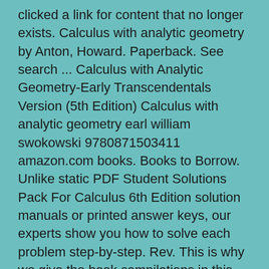clicked a link for content that no longer exists. Calculus with analytic geometry by Anton, Howard. Paperback. See search ... Calculus with Analytic Geometry-Early Transcendentals Version (5th Edition) Calculus with analytic geometry earl william swokowski 9780871503411 amazon.com books. Books to Borrow. Unlike static PDF Student Solutions Pack For Calculus 6th Edition solution manuals or printed answer keys, our experts show you how to solve each problem step-by-step. Rev. This is why we give the book compilations in this website. 9 offers from $7.53. Shipped with USPS Priority Mail. Calculus and Analytic Geometry by Mizrahi, Abshalom and a great selection of related books, art and collectibles available now at AbeBooks.com. calculus and analytic geometry 7th edition Nov 01, 2020 Posted By Andrew Neiderman Media TEXT ID e42a8fe3 Online PDF Ebook Epub Library options and get the best deals for calculus and analytic geometry 4th edition 1984 douglas f riddle 1272pgs at the ... Calculus With Analytic Geometry 2nd Edition By Earl W